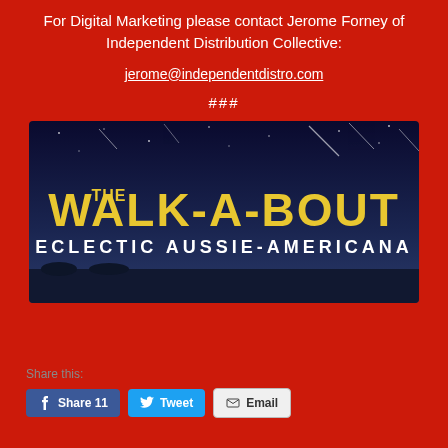For Digital Marketing please contact Jerome Forney of Independent Distribution Collective:
jerome@independentdistro.com
###
[Figure (illustration): The Walk-A-Bout — Eclectic Aussie-Americana. Dark night sky background with a silhouette. Yellow grunge-style text reads 'THE WALK-A-BOUT' and below in white 'ECLECTIC AUSSIE-AMERICANA'.]
Share this:
Share 11  Tweet  Email